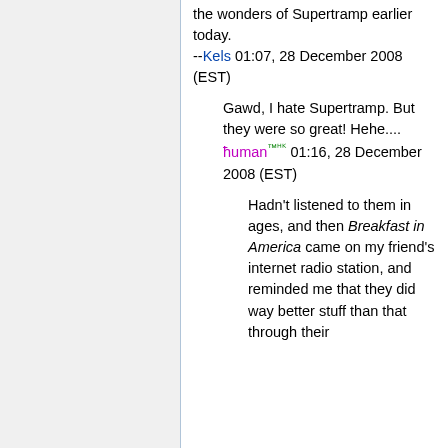the wonders of Supertramp earlier today. --Kels 01:07, 28 December 2008 (EST)
Gawd, I hate Supertramp. But they were so great! Hehe.... ħuman™ᴴᴷ 01:16, 28 December 2008 (EST)
Hadn't listened to them in ages, and then Breakfast in America came on my friend's internet radio station, and reminded me that they did way better stuff than that through their